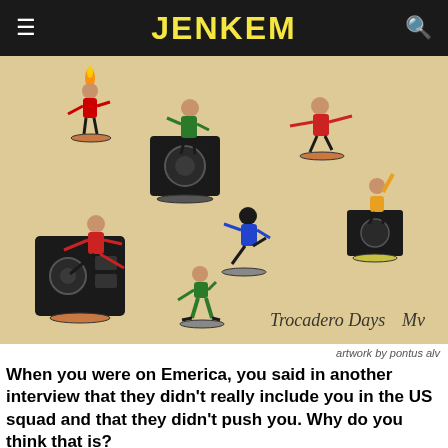JENKEM
[Figure (illustration): Artwork showing multiple skateboarders in colorful clothing skating near large speaker/amplifier boxes, drawn in a loose ink and marker style. Signed 'Trocadero Days' with initials. Background is a warm beige/tan color.]
artwork by pontus alv
When you were on Emerica, you said in another interview that they didn't really include you in the US squad and that they didn't push you. Why do you think that is?
That's the reason why I quit. I left cause I did not feel like I was riding for the real team in the USA. I was just a dude in Europe